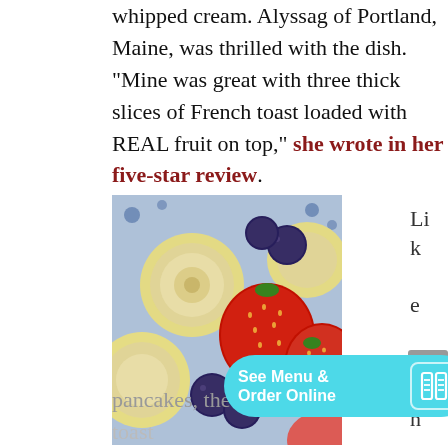whipped cream. Alyssag of Portland, Maine, was thrilled with the dish. “Mine was great with three thick slices of French toast loaded with REAL fruit on top,” she wrote in her five-star review.
[Figure (photo): Close-up photo of mixed fruit including banana slices, strawberries, and blueberries on a blue and white patterned plate, with a cyan 'See Menu & Order Online' button overlay]
pancakes, the restaurant’s French toast